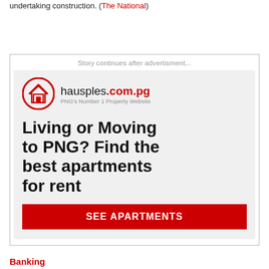undertaking construction. (The National)
[Figure (infographic): Advertisement for hausples.com.pg - PNG's Number 1 Property Website. Shows logo with red house icon, headline 'Living or Moving to PNG? Find the best apartments for rent', and a red 'SEE APARTMENTS' button. Contains 'Story continues after advertisment...' label at top.]
Banking